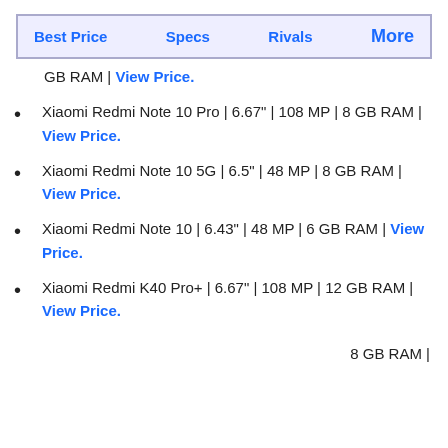Best Price | Specs | Rivals | More
GB RAM | View Price.
Xiaomi Redmi Note 10 Pro | 6.67" | 108 MP | 8 GB RAM | View Price.
Xiaomi Redmi Note 10 5G | 6.5" | 48 MP | 8 GB RAM | View Price.
Xiaomi Redmi Note 10 | 6.43" | 48 MP | 6 GB RAM | View Price.
Xiaomi Redmi K40 Pro+ | 6.67" | 108 MP | 12 GB RAM | View Price.
8 GB RAM |